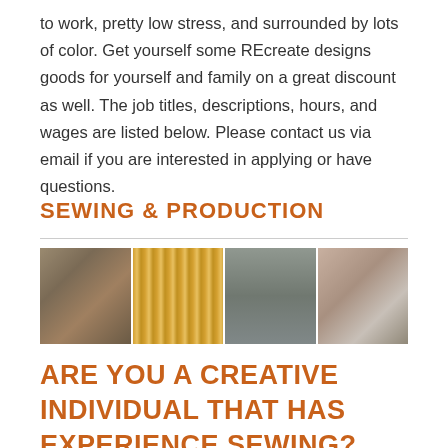to work, pretty low stress, and surrounded by lots of color. Get yourself some REcreate designs goods for yourself and family on a great discount as well. The job titles, descriptions, hours, and wages are listed below. Please contact us via email if you are interested in applying or have questions.
SEWING & PRODUCTION
[Figure (photo): Four side-by-side photos showing sewing and production: fabric pieces with scissors and pins, hanging fabric strips, a sewing machine, and hands sewing striped fabric.]
ARE YOU A CREATIVE INDIVIDUAL THAT HAS EXPERIENCE SEWING? LOVE COLOR, CUTE THINGS, AND